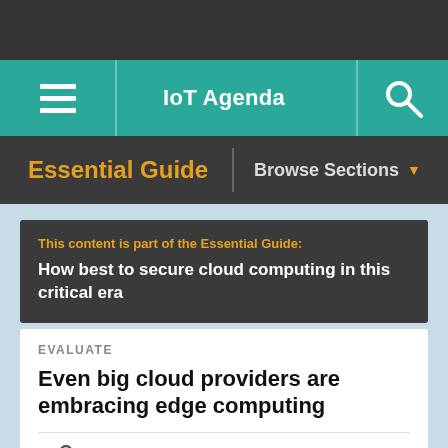IoT Agenda
Essential Guide | Browse Sections
This content is part of the Essential Guide:
How best to secure cloud computing in this critical era
EVALUATE
Even big cloud providers are embracing edge computing